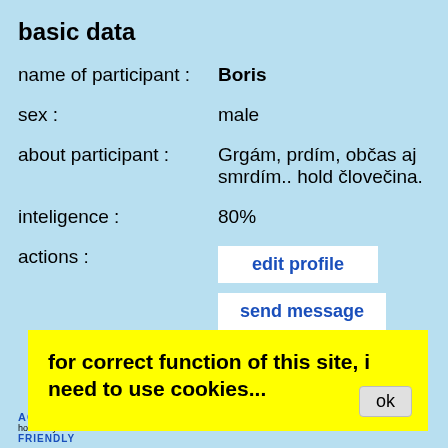basic data
name of participant : Boris
sex : male
about participant : Grgám, prdím, občas aj smrdím.. hold človečina.
inteligence : 80%
actions : edit profile | send message
for correct function of this site, i need to use cookies...
ok
AQUARIUS FRIENDLY